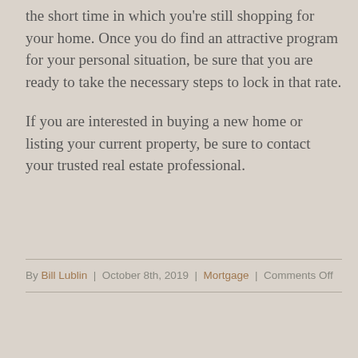the short time in which you're still shopping for your home. Once you do find an attractive program for your personal situation, be sure that you are ready to take the necessary steps to lock in that rate.
If you are interested in buying a new home or listing your current property, be sure to contact your trusted real estate professional.
By Bill Lublin | October 8th, 2019 | Mortgage | Comments Off